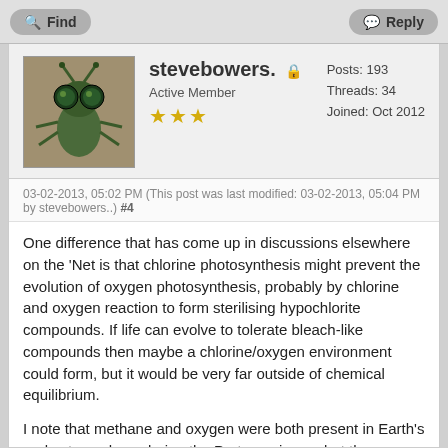Find   Reply
stevebowers.  Active Member ★★★  Posts: 193  Threads: 34  Joined: Oct 2012
03-02-2013, 05:02 PM (This post was last modified: 03-02-2013, 05:04 PM by stevebowers..)  #4
One difference that has come up in discussions elsewhere on the 'Net is that chlorine photosynthesis might prevent the evolution of oxygen photosynthesis, probably by chlorine and oxygen reaction to form sterilising hypochlorite compounds. If life can evolve to tolerate bleach-like compounds then maybe a chlorine/oxygen environment could form, but it would be very far outside of chemical equilibrium.
I note that methane and oxygen were both present in Earth's early atmosphere during the Proterozoic era, but they should react with each other quite rapidly. Life processes replenished both as quickly as they could react with each other. Given the right circumstances